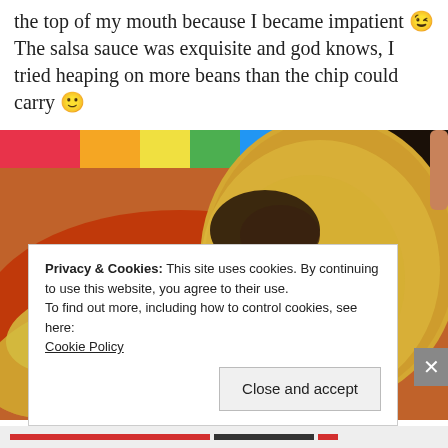the top of my mouth because I became impatient 😉 The salsa sauce was exquisite and god knows, I tried heaping on more beans than the chip could carry 🙂
[Figure (photo): Close-up photo of nachos with melted cheese and salsa sauce on a colorful background]
Privacy & Cookies: This site uses cookies. By continuing to use this website, you agree to their use.
To find out more, including how to control cookies, see here:
Cookie Policy
Close and accept